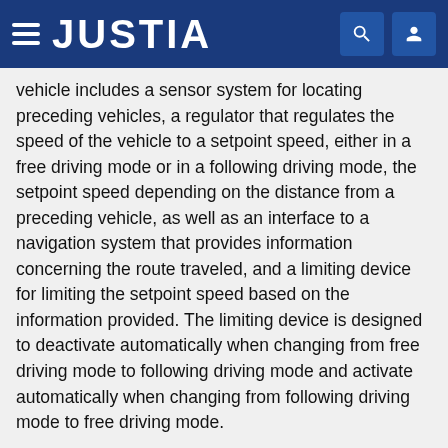JUSTIA
vehicle includes a sensor system for locating preceding vehicles, a regulator that regulates the speed of the vehicle to a setpoint speed, either in a free driving mode or in a following driving mode, the setpoint speed depending on the distance from a preceding vehicle, as well as an interface to a navigation system that provides information concerning the route traveled, and a limiting device for limiting the setpoint speed based on the information provided. The limiting device is designed to deactivate automatically when changing from free driving mode to following driving mode and activate automatically when changing from following driving mode to free driving mode.
Type: Application
Filed: July 24, 2006
Publication date: January 7, 2010
Inventors: Albrecht Klotz, Dieter Hoetzer, Markus